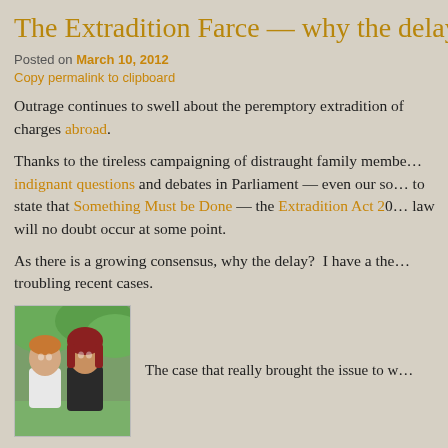The Extradition Farce — why the delay in ref…
Posted on March 10, 2012
Copy permalink to clipboard
Outrage continues to swell about the peremptory extradition of charges abroad.
Thanks to the tireless campaigning of distraught family members, indignant questions and debates in Parliament — even our so… to state that Something Must be Done — the Extradition Act 20… law will no doubt occur at some point.
As there is a growing consensus, why the delay?  I have a the… troubling recent cases.
[Figure (photo): Photo of two people, a man and a woman, outdoors with greenery in background.]
The case that really brought the issue to w…
long extradition battle of Gary McKinnon… With this award of D…